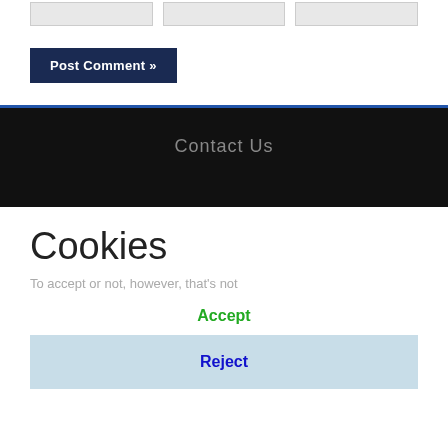[Figure (screenshot): Three empty gray input boxes in a row]
Post Comment »
Contact Us
Cookies
Accept
Reject